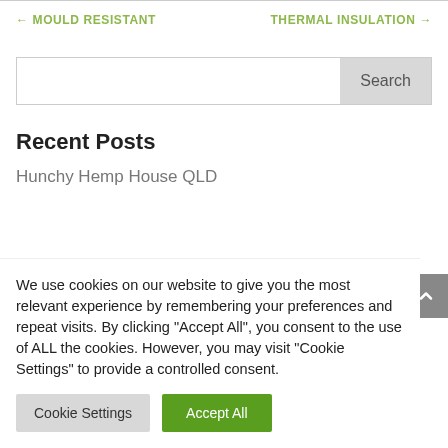← MOULD RESISTANT    THERMAL INSULATION →
[Figure (screenshot): Search input box with Search button]
Recent Posts
Hunchy Hemp House QLD
We use cookies on our website to give you the most relevant experience by remembering your preferences and repeat visits. By clicking "Accept All", you consent to the use of ALL the cookies. However, you may visit "Cookie Settings" to provide a controlled consent.